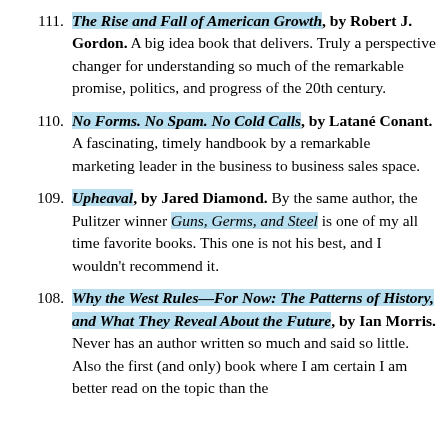111. The Rise and Fall of American Growth, by Robert J. Gordon. A big idea book that delivers. Truly a perspective changer for understanding so much of the remarkable promise, politics, and progress of the 20th century.
110. No Forms. No Spam. No Cold Calls, by Latané Conant. A fascinating, timely handbook by a remarkable marketing leader in the business to business sales space.
109. Upheaval, by Jared Diamond. By the same author, the Pulitzer winner Guns, Germs, and Steel is one of my all time favorite books. This one is not his best, and I wouldn't recommend it.
108. Why the West Rules—For Now: The Patterns of History, and What They Reveal About the Future, by Ian Morris. Never has an author written so much and said so little. Also the first (and only) book where I am certain I am better read on the topic than the